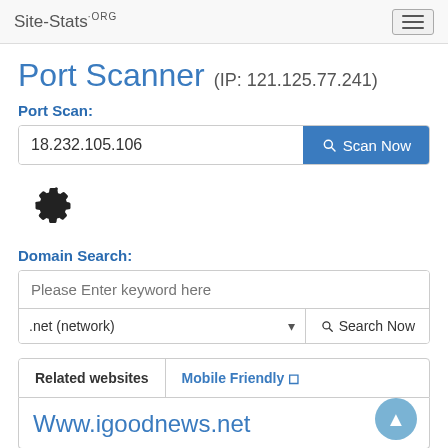Site-Stats.ORG
Port Scanner (IP: 121.125.77.241)
Port Scan:
18.232.105.106
[Figure (infographic): Gear/settings icon]
Domain Search:
Please Enter keyword here
.net (network)
Related websites
Mobile Friendly ◻
Www.igoodnews.net